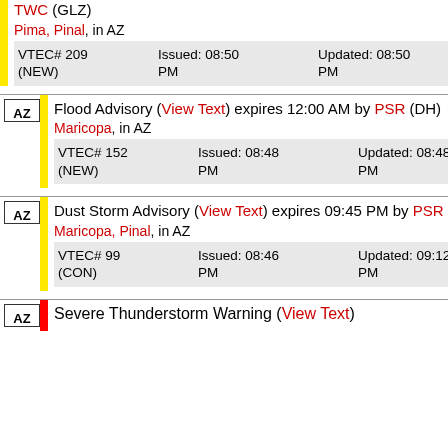TWC (GLZ) Pima, Pinal, in AZ VTEC# 209 (NEW) Issued: 08:50 PM Updated: 08:50 PM
Flood Advisory (View Text) expires 12:00 AM by PSR (DH) Maricopa, in AZ VTEC# 152 (NEW) Issued: 08:48 PM Updated: 08:48 PM
Dust Storm Advisory (View Text) expires 09:45 PM by PSR (INS) Maricopa, Pinal, in AZ VTEC# 99 (CON) Issued: 08:46 PM Updated: 09:12 PM
Severe Thunderstorm Warning (View Text)